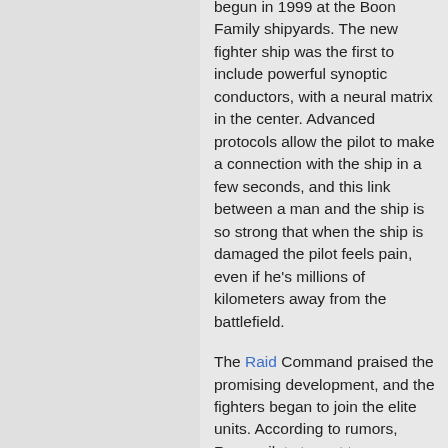begun in 1999 at the Boon Family shipyards. The new fighter ship was the first to include powerful synoptic conductors, with a neural matrix in the center. Advanced protocols allow the pilot to make a connection with the ship in a few seconds, and this link between a man and the ship is so strong that when the ship is damaged the pilot feels pain, even if he's millions of kilometers away from the battlefield.
The Raid Command praised the promising development, and the fighters began to join the elite units. According to rumors, Razor pilots try not to expose their ship to fire and are constantly improving their